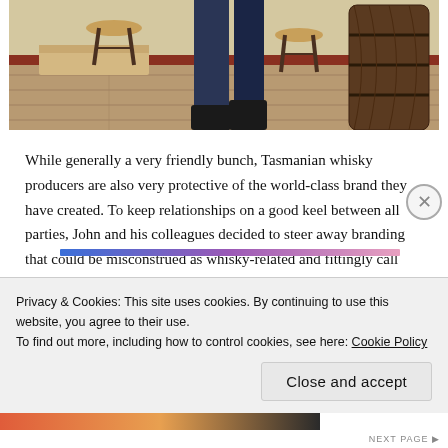[Figure (photo): Photo of a person in a bar/distillery setting with wooden barrels and stools on a hardwood floor]
While generally a very friendly bunch, Tasmanian whisky producers are also very protective of the world-class brand they have created. To keep relationships on a good keel between all parties, John and his colleagues decided to steer away branding that could be misconstrued as whisky-related and fittingly call their product moonshine, a traditional name for any unaged or underaged spirit.
Privacy & Cookies: This site uses cookies. By continuing to use this website, you agree to their use.
To find out more, including how to control cookies, see here: Cookie Policy
Close and accept